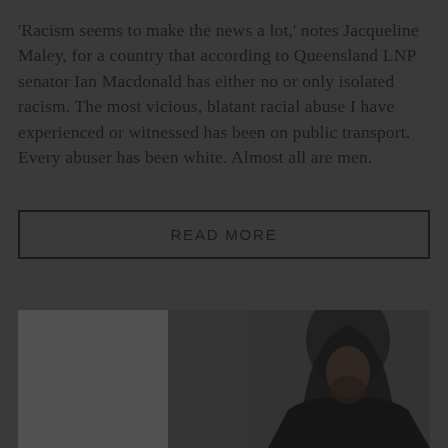'Racism seems to make the news a lot,' notes Jacqueline Maley, for a country that according to Queensland LNP senator Ian Macdonald has either no or only isolated racism. The most vicious, blatant racial abuse I have experienced or witnessed has been on public transport. Every abuser has been white. Almost all are men.
READ MORE
[Figure (photo): Dark, moody photograph of a man with long dark hair and beard, appears to be looking downward, wearing dark clothing. Background is blurred and dark.]